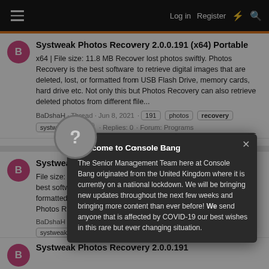Log in  Register
Systweak Photos Recovery 2.0.0.191 (x64) Portable
x64 | File size: 11.8 MB Recover lost photos swiftly. Photos Recovery is the best software to retrieve digital images that are deleted, lost, or formatted from USB Flash Drive, memory cards, hard drive etc. Not only this but Photos Recovery can also retrieve deleted photos from different file...
BaDshaH · Thread · Jun 8, 2021 · 191 photos recovery systweak x64 · Replies: 0 · Forum: Programs
Systweak Photos Recovery 2.0.0.191 (x86)
File size: 15.27... cover lost photos swiftly. Photos Recovery is the best software to retrieve digital images that are deleted, lost, or formatted from USB Flash... memory card... etc. Not only this but Photos Recovery can also retrieve... deleted photos from different file system...
BaDshaH · Thread · Jun 5... photos recovery systweak x86 · Replies...
Welcome to Console Bang
The Senior Management Team here at Console Bang originated from the United Kingdom where it is currently on a national lockdown. We will be bringing new updates throughout the next few weeks and bringing more content than ever before! We send anyone that is affected by COVID-19 our best wishes in this rare but ever changing situation.
Systweak Photos Recovery 2.0.0.191